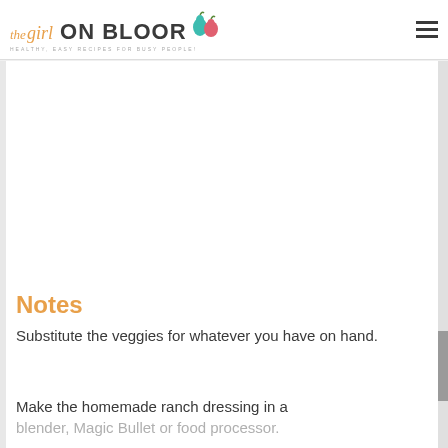the girl ON BLOOR - HEALTHY, EASY RECIPES FOR BUSY PEOPLE!
Notes
Substitute the veggies for whatever you have on hand.
Make the homemade ranch dressing in a blender, Magic Bullet or food processor.
Store any leftovers in the fridge for up to 5